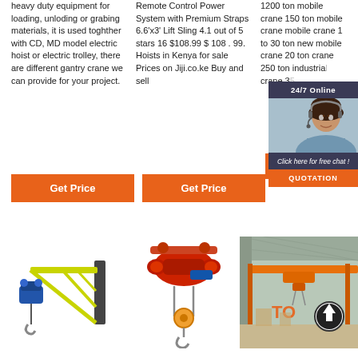heavy duty equipment for loading, unloding or grabing materials, it is used toghther with CD, MD model electric hoist or electric trolley, there are different gantry crane we can provide for your project.
Remote Control Power System with Premium Straps 6.6'x3' Lift Sling 4.1 out of 5 stars 16 $108.99 $ 108 . 99. Hoists in Kenya for sale Prices on Jiji.co.ke Buy and sell
1200 ton mobile crane 150 ton mobile crane mobile crane 1 to 30 ton new mobile crane 20 ton crane 250 ton industrial crane 35
[Figure (other): 24/7 Online chat widget with woman customer service representative, orange QUOTATION button]
[Figure (photo): Yellow wall-mounted jib crane with blue electric hoist attached]
[Figure (photo): Red electric hoist with chain/hook hanging down]
[Figure (photo): Industrial overhead crane inside a warehouse/factory building, orange crane, with circular logo overlay]